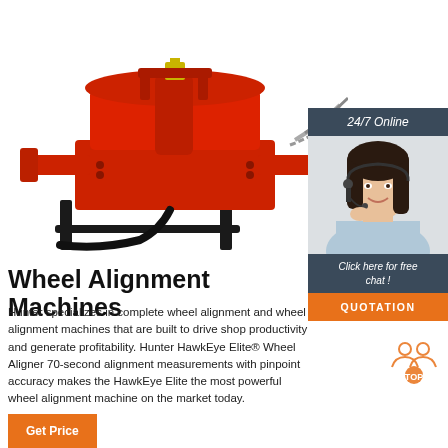[Figure (photo): Red wheel alignment machine (Hunter brand) with chain and black hydraulic hose on white background]
[Figure (photo): Customer service representative woman wearing headset, smiling, with a dark navy header bar saying '24/7 Online' and footer bar saying 'Click here for free chat!' and an orange QUOTATION button]
Wheel Alignment Machines
Hunter specializes in complete wheel alignment and wheel alignment machines that are built to drive shop productivity and generate profitability. Hunter HawkEye Elite® Wheel Aligner 70-second alignment measurements with pinpoint accuracy makes the HawkEye Elite the most powerful wheel alignment machine on the market today.